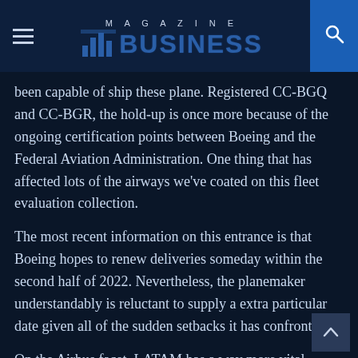MAGAZINE BUSINESS
been capable of ship these plane. Registered CC-BGQ and CC-BGR, the hold-up is once more because of the ongoing certification points between Boeing and the Federal Aviation Administration. One thing that has affected lots of the airways we've coated on this fleet evaluation collection.
The most recent information on this entrance is that Boeing hopes to renew deliveries someday within the second half of 2022. Nevertheless, the planemaker understandably is reluctant to supply a extra particular date given all of the sudden setbacks it has confronted.
On the Airbus facet, LATAM has a way more vital dedication. The airline expects to obtain at the very least 70 A320neo household plane.Roberto Alvo, CEO of LATAM